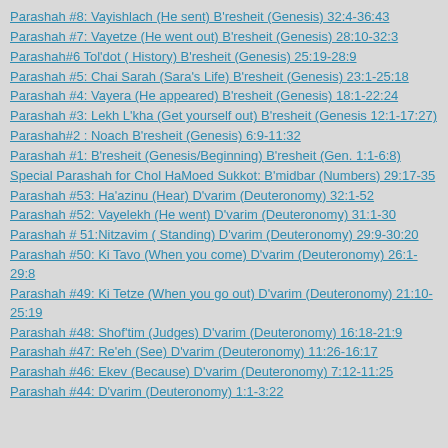Parashah #8: Vayishlach (He sent) B'resheit (Genesis) 32:4-36:43
Parashah #7: Vayetze (He went out) B'resheit (Genesis) 28:10-32:3
Parashah#6 Tol'dot ( History) B'resheit (Genesis) 25:19-28:9
Parashah #5: Chai Sarah (Sara's Life) B'resheit (Genesis) 23:1-25:18
Parashah #4: Vayera (He appeared) B'resheit (Genesis) 18:1-22:24
Parashah #3: Lekh L'kha (Get yourself out) B'resheit (Genesis 12:1-17:27)
Parashah#2 : Noach B'resheit (Genesis) 6:9-11:32
Parashah #1: B'resheit (Genesis/Beginning) B'resheit (Gen. 1:1-6:8)
Special Parashah for Chol HaMoed Sukkot: B'midbar (Numbers) 29:17-35
Parashah #53: Ha'azinu (Hear) D'varim (Deuteronomy) 32:1-52
Parashah #52: Vayelekh (He went) D'varim (Deuteronomy) 31:1-30
Parashah # 51:Nitzavim ( Standing) D'varim (Deuteronomy) 29:9-30:20
Parashah #50: Ki Tavo (When you come) D'varim (Deuteronomy) 26:1-29:8
Parashah #49: Ki Tetze (When you go out) D'varim (Deuteronomy) 21:10-25:19
Parashah #48: Shof'tim (Judges) D'varim (Deuteronomy) 16:18-21:9
Parashah #47: Re'eh (See) D'varim (Deuteronomy) 11:26-16:17
Parashah #46: Ekev (Because) D'varim (Deuteronomy) 7:12-11:25
Parashah #44: D'varim (Deuteronomy) 1:1-3:22